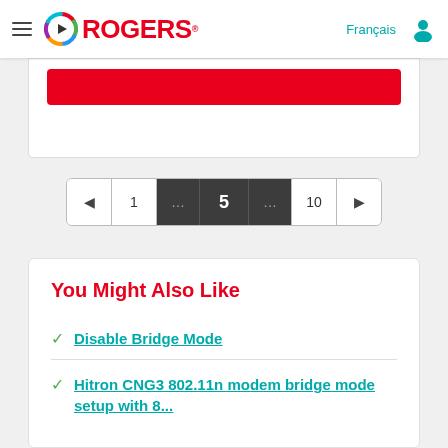Rogers — Français
[Figure (screenshot): Partial red button/banner visible at top of content area]
[Figure (infographic): Pagination control showing pages: left arrow, 1, ..., 5 (active), ..., 10, right arrow]
You Might Also Like
Disable Bridge Mode
Hitron CNG3 802.11n modem bridge mode setup with 8...